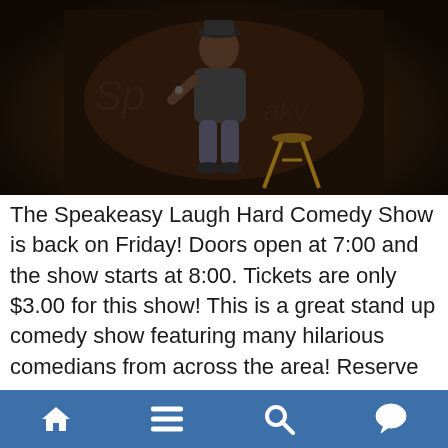[Figure (photo): A man performing stand-up comedy on a dark stage, holding a microphone, with a wooden stool beside him and a dark brick-like background.]
The Speakeasy Laugh Hard Comedy Show is back on Friday! Doors open at 7:00 and the show starts at 8:00. Tickets are only $3.00 for this show! This is a great stand up comedy show featuring many hilarious comedians from across the area! Reserve your tickets in advance to make sure you get in for the show! Your show emcee will be Speakeasy favorite, Todd Willhite! This is a fun, inexpensive night out with friends! We do have selected food items available and
[navigation bar with home, menu, search, chat icons]